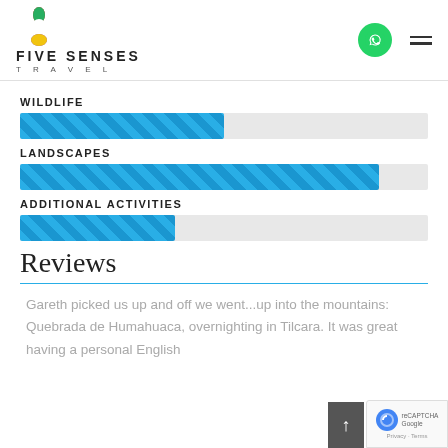[Figure (logo): Five Senses Travel logo with colorful geometric flower icon and company name]
WILDLIFE
[Figure (bar-chart): Horizontal progress bar for Wildlife category, approximately 50% filled with diagonal-striped blue bar]
LANDSCAPES
[Figure (bar-chart): Horizontal progress bar for Landscapes category, approximately 88% filled with diagonal-striped blue bar]
ADDITIONAL ACTIVITIES
[Figure (bar-chart): Horizontal progress bar for Additional Activities category, approximately 38% filled with diagonal-striped blue bar]
Reviews
Gareth picked us up and off we went...up into the mountains: Quebrada de Humahuaca, overnighting in Tilcara. It was great having a personal English